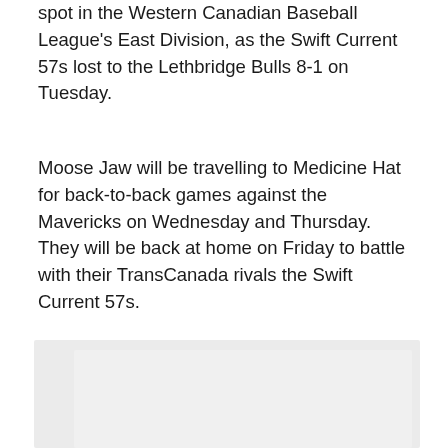spot in the Western Canadian Baseball League's East Division, as the Swift Current 57s lost to the Lethbridge Bulls 8-1 on Tuesday.
Moose Jaw will be travelling to Medicine Hat for back-to-back games against the Mavericks on Wednesday and Thursday. They will be back at home on Friday to battle with their TransCanada rivals the Swift Current 57s.
[Figure (photo): A large light gray placeholder image box with a slightly lighter inner rectangle, partially visible at the bottom of the page.]